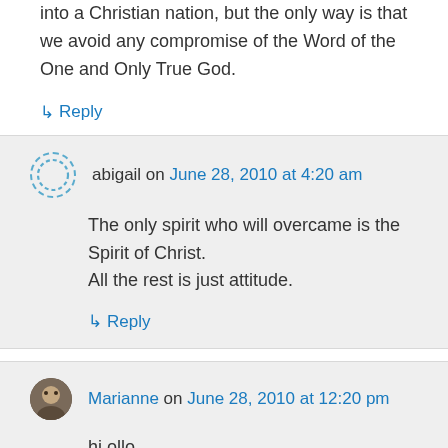into a Christian nation, but the only way is that we avoid any compromise of the Word of the One and Only True God.
↳ Reply
abigail on June 28, 2010 at 4:20 am
The only spirit who will overcame is the Spirit of Christ.
All the rest is just attitude.
↳ Reply
Marianne on June 28, 2010 at 12:20 pm
hi ollo